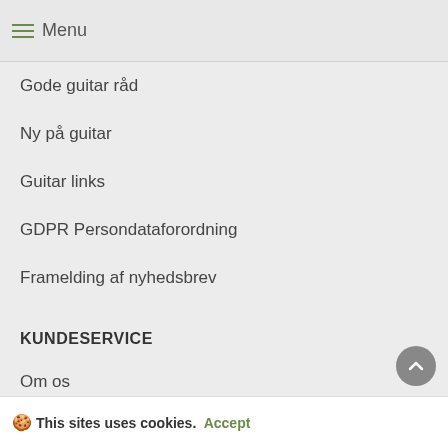Menu
Gode guitar råd
Ny på guitar
Guitar links
GDPR Persondataforordning
Framelding af nyhedsbrev
KUNDESERVICE
Om os
Kontakt os
Medarbejdere
Butikken
This sites uses cookies. Accept